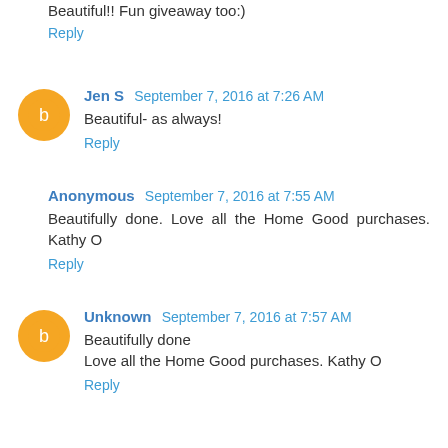Beautiful!! Fun giveaway too:)
Reply
Jen S  September 7, 2016 at 7:26 AM
Beautiful- as always!
Reply
Anonymous  September 7, 2016 at 7:55 AM
Beautifully done. Love all the Home Good purchases. Kathy O
Reply
Unknown  September 7, 2016 at 7:57 AM
Beautifully done
Love all the Home Good purchases. Kathy O
Reply